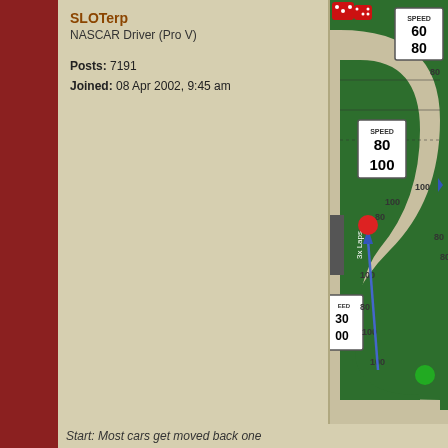SLOTerp
NASCAR Driver (Pro V)
Posts: 7191
Joined: 08 Apr 2002, 9:45 am
[Figure (screenshot): A board game racing track screenshot showing a winding race track on green background with speed signs (SPEED 60/80, SPEED 80/100), colored car tokens (red and green circles), a blue arrow indicating movement, red dice in top corner, and speed numbers (80, 100) along the track edges. Side label reads '3x Laps'.]
Start: Most cars get moved back one